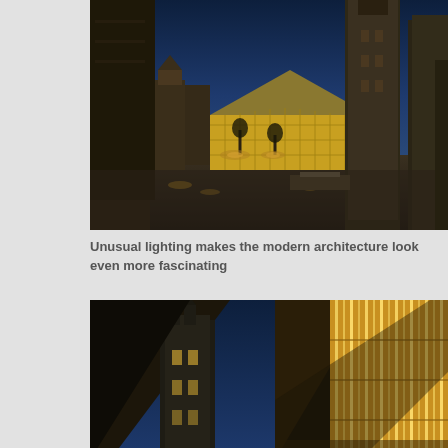[Figure (photo): Night-time panoramic photo of a European city square (Ghent, Belgium) showing illuminated historic cathedral towers and a modern glass-and-steel building lit up, with a cobblestone plaza in the foreground and trees with ground lighting.]
Unusual lighting makes the modern architecture look even more fascinating
[Figure (photo): Split night-time architectural photo: left half shows a dark triangular geometric shape against a deep blue sky with a Gothic church tower visible; right half shows a close-up of a glowing golden/amber illuminated modern building facade with vertical light streaks.]